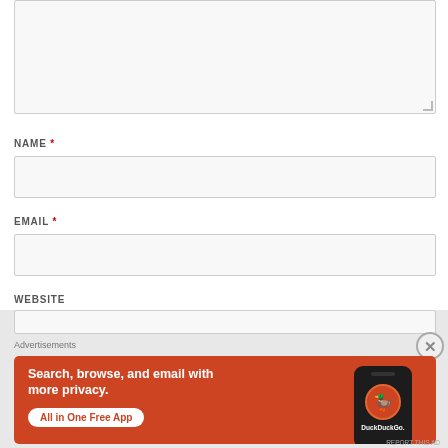[Figure (screenshot): Top portion of a web comment form showing a textarea (partially cropped at top), then form fields for NAME (required), EMAIL (required), and WEBSITE, with a DuckDuckGo advertisement overlay at the bottom with an X close button.]
NAME *
EMAIL *
WEBSITE
Advertisements
Search, browse, and email with more privacy.
All in One Free App
DuckDuckGo.